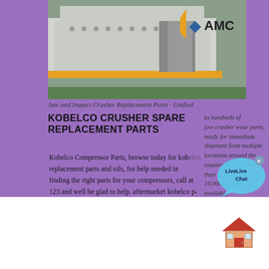[Figure (photo): Industrial jaw or impact crusher machinery on factory floor with AMC logo overlay in orange and blue]
Jaw and Impact Crusher Replacement Parts · Unified
KOBELCO CRUSHER SPARE REPLACEMENT PARTS
ks hundreds of jaw crusher wear parts, ready for immediate shipment from multiple locations around the country. We have more than 10,000 patterns available. If we don't have a ...
Kobelco Compressor Parts, browse today for kobelco replacement parts and oils, for help needed in finding the right parts for your compressors, call at 123 and well be glad to help. aftermarket kobelco p-c separator rating: 0%. $327.50. add to cart. aftermarket kobelco suction filter
[Figure (illustration): Live Chat speech bubble icon in light blue with 'Live Chat' text and an X close button]
[Figure (illustration): Small red house/home icon]